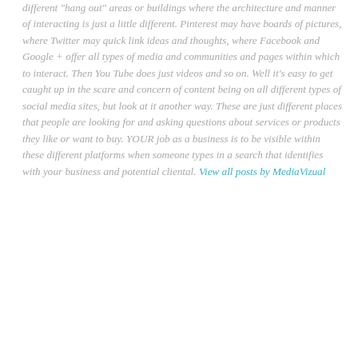different "hang out" areas or buildings where the architecture and manner of interacting is just a little different. Pinterest may have boards of pictures, where Twitter may quick link ideas and thoughts, where Facebook and Google + offer all types of media and communities and pages within which to interact. Then You Tube does just videos and so on. Well it's easy to get caught up in the scare and concern of content being on all different types of social media sites, but look at it another way. These are just different places that people are looking for and asking questions about services or products they like or want to buy. YOUR job as a business is to be visible within these different platforms when someone types in a search that identifies with your business and potential cliental. View all posts by MediaVizual